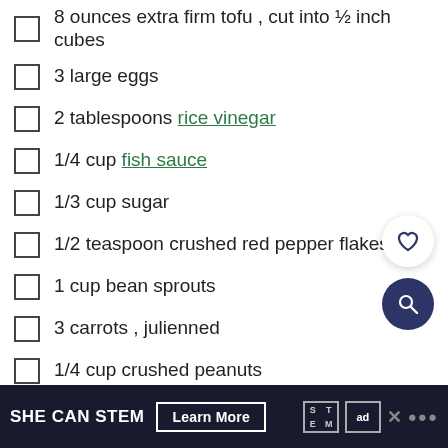8 ounces extra firm tofu , cut into ½ inch cubes
3 large eggs
2 tablespoons rice vinegar
1/4 cup fish sauce
1/3 cup sugar
1/2 teaspoon crushed red pepper flakes
1 cup bean sprouts
3 carrots , julienned
1/4 cup crushed peanuts
2 green onions , chopped
1 lime , cut into wedges
cilantro , for garnish (optional)
SHE CAN STEM  Learn More